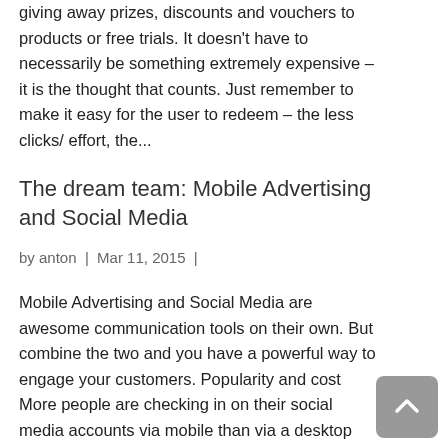giving away prizes, discounts and vouchers to products or free trials. It doesn't have to necessarily be something extremely expensive – it is the thought that counts. Just remember to make it easy for the user to redeem – the less clicks/ effort, the...
The dream team: Mobile Advertising and Social Media
by anton | Mar 11, 2015 |
Mobile Advertising and Social Media are awesome communication tools on their own. But combine the two and you have a powerful way to engage your customers. Popularity and cost More people are checking in on their social media accounts via mobile than via a desktop computer.